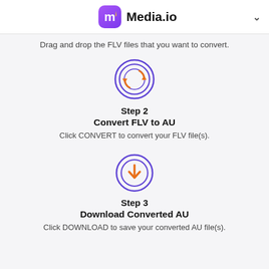Media.io
Drag and drop the FLV files that you want to convert.
[Figure (illustration): Circular conversion icon with purple double-ring and orange arrows indicating a convert/refresh action]
Step 2
Convert FLV to AU
Click CONVERT to convert your FLV file(s).
[Figure (illustration): Circular download icon with purple double-ring and orange downward arrow]
Step 3
Download Converted AU
Click DOWNLOAD to save your converted AU file(s).